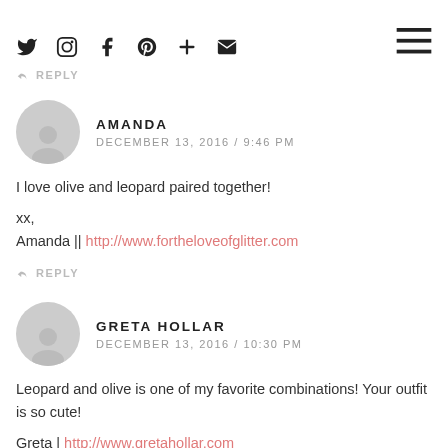Social icons and hamburger menu
REPLY
AMANDA
DECEMBER 13, 2016 / 9:46 PM

I love olive and leopard paired together!

xx,
Amanda || http://www.fortheloveofglitter.com
REPLY
GRETA HOLLAR
DECEMBER 13, 2016 / 10:30 PM

Leopard and olive is one of my favorite combinations! Your outfit is so cute!

Greta | http://www.gretahollar.com